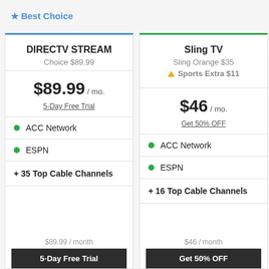★ Best Choice
| DIRECTV STREAM | Sling TV |
| --- | --- |
| Choice $89.99 | Sling Orange $35 / ▲ Sports Extra $11 |
| $89.99 / mo. | $46 / mo. |
| 5-Day Free Trial | Get 50% OFF |
| ● ACC Network | ● ACC Network |
| ● ESPN | ● ESPN |
| + 35 Top Cable Channels | + 16 Top Cable Channels |
| $89.99 / month | $46 / month |
| 5-Day Free Trial [button] | Get 50% OFF [button] |